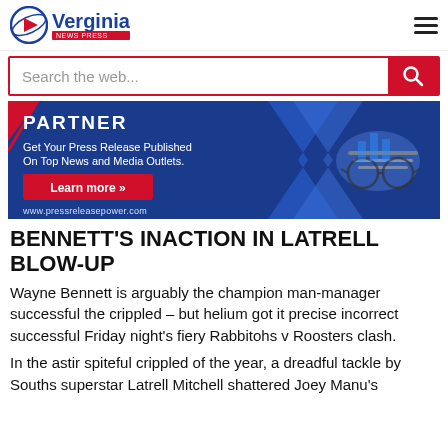[Figure (logo): Verginia news press logo with globe/play-button icon and red tagline badge]
[Figure (infographic): Advertisement banner: dark blue background with text 'PARTNER – Get Your Press Release Published On Top News and Media Outlets. Learn more >> www.pressreleasepower.com' with glasses image]
BENNETT'S INACTION IN LATRELL BLOW-UP
Wayne Bennett is arguably the champion man-manager successful the crippled – but helium got it precise incorrect successful Friday night's fiery Rabbitohs v Roosters clash.
In the astir spiteful crippled of the year, a dreadful tackle by Souths superstar Latrell Mitchell shattered Joey Manu's